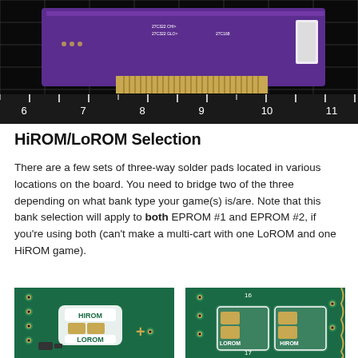[Figure (photo): Close-up photo of a purple PCB (printed circuit board) with gold edge connector pins, labeled with 27C322 chip markings, shown on a black grid ruler background with numbers 6 through 11 visible along the bottom ruler.]
HiROM/LoROM Selection
There are a few sets of three-way solder pads located in various locations on the board. You need to bridge two of the three depending on what bank type your game(s) is/are. Note that this bank selection will apply to both EPROM #1 and EPROM #2, if you're using both (can't make a multi-cart with one LoROM and one HiROM game).
[Figure (photo): Close-up of a green PCB showing three-way solder pads labeled HIROM and LOROM with a plus symbol, showing unsoldered pads.]
[Figure (photo): Close-up of a green PCB showing three-way solder pads labeled LOROM and HIROM side by side with unsoldered pads.]